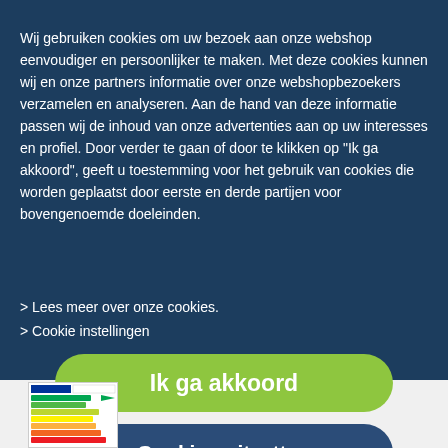Wij gebruiken cookies om uw bezoek aan onze webshop eenvoudiger en persoonlijker te maken. Met deze cookies kunnen wij en onze partners informatie over onze webshopbezoekers verzamelen en analyseren. Aan de hand van deze informatie passen wij de inhoud van onze advertenties aan op uw interesses en profiel. Door verder te gaan of door te klikken op "Ik ga akkoord", geeft u toestemming voor het gebruik van cookies die worden geplaatst door eerste en derde partijen voor bovengenoemde doeleinden.
> Lees meer over onze cookies.
> Cookie instellingen
Ik ga akkoord
Cookies uitzetten
[Figure (photo): Energy label sticker showing colored efficiency bars (A through G) in red, orange, yellow, green gradients, partially visible at bottom left of page.]